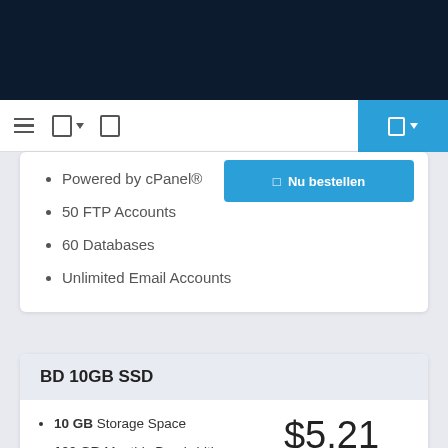Navigation bar with dark navy background
Powered by cPanel®
50 FTP Accounts
60 Databases
Unlimited Email Accounts
BD 10GB SSD
10 GB Storage Space
100 GB Monthly Bandwidth
50 Sub-Domains
5 Addon Domain
Powered by cPanel®
50 FTP Accounts
60 Databases
$5.21 Maandelijks
Nu bestellen